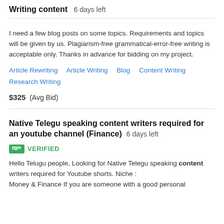Writing content  6 days left
I need a few blog posts on some topics. Requirements and topics will be given by us. Plagiarism-free grammatical-error-free writing is acceptable only. Thanks in advance for bidding on my project.
Article Rewriting  Article Writing  Blog  Content Writing  Research Writing
$325  (Avg Bid)
Native Telegu speaking content writers required for an youtube channel (Finance)  6 days left
VERIFIED
Hello Telugu people, Looking for Native Telegu speaking content writers required for Youtube shorts. Niche : Money & Finance If you are someone with a good personal